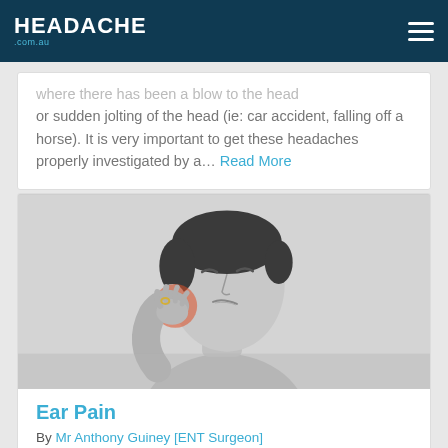HEADACHE .COM.AU
where there has been a blow to the head or sudden jolting of the head (ie: car accident, falling off a horse). It is very important to get these headaches properly investigated by a… Read More
[Figure (photo): Black and white photo of a man holding his ear/neck area in pain, with a red/orange highlight on the ear area indicating pain location]
Ear Pain
By Mr Anthony Guiney [ENT Surgeon]